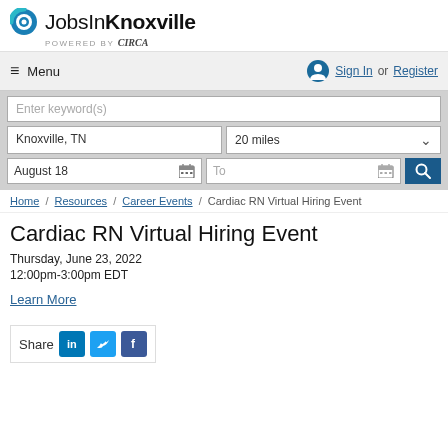JobsInKnoxville powered by Circa
Menu | Sign In or Register
Enter keyword(s) | Knoxville, TN | 20 miles | August 18 | To
Home / Resources / Career Events / Cardiac RN Virtual Hiring Event
Cardiac RN Virtual Hiring Event
Thursday, June 23, 2022
12:00pm-3:00pm EDT
Learn More
Share